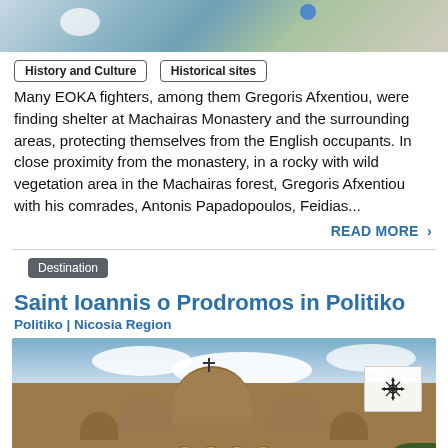[Figure (photo): Top portion of a photo showing a historical/monastery scene with blue and green tones, partially cropped at the top of the page]
History and Culture
Historical sites
Many EOKA fighters, among them Gregoris Afxentiou, were finding shelter at Machairas Monastery and the surrounding areas, protecting themselves from the English occupants. In close proximity from the monastery, in a rocky with wild vegetation area in the Machairas forest, Gregoris Afxentiou with his comrades, Antonis Papadopoulos, Feidias...
READ MORE ›
Destination
Saint Ioannis o Prodromos in Politiko
Politiko | Nicosia Region
[Figure (photo): Photo of Saint Ioannis o Prodromos Byzantine church in Politiko, showing a domed Orthodox church with terracotta/brick colored domes against a blue sky with clouds. A map navigation icon overlay appears in upper right of the image.]